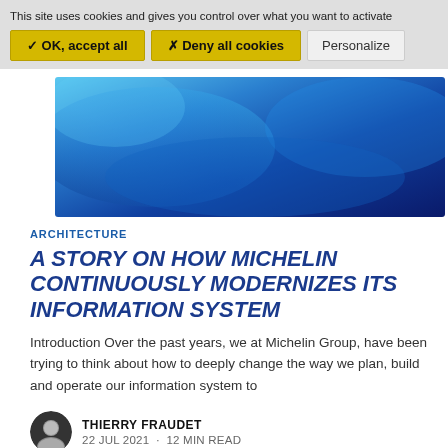This site uses cookies and gives you control over what you want to activate
✓ OK, accept all   ✗ Deny all cookies   Personalize
[Figure (photo): Blue abstract gradient background image used as a hero/banner image for the article]
ARCHITECTURE
A STORY ON HOW MICHELIN CONTINUOUSLY MODERNIZES ITS INFORMATION SYSTEM
Introduction Over the past years, we at Michelin Group, have been trying to think about how to deeply change the way we plan, build and operate our information system to
THIERRY FRAUDET
22 JUL 2021 · 12 MIN READ